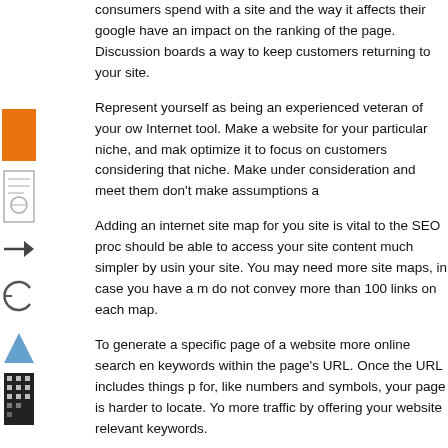consumers spend with a site and the way it affects their google have an impact on the ranking of the page. Discussion boards a way to keep customers returning to your site.
Represent yourself as being an experienced veteran of your ow Internet tool. Make a website for your particular niche, and mak optimize it to focus on customers considering that niche. Make under consideration and meet them don't make assumptions a
Adding an internet site map for you site is vital to the SEO proc should be able to access your site content much simpler by usin your site. You may need more site maps, in case you have a m do not convey more than 100 links on each map.
To generate a specific page of a website more online search en keywords within the page's URL. Once the URL includes things p for, like numbers and symbols, your page is harder to locate. Yo more traffic by offering your website relevant keywords.
You can use Javascript inside your pages, however, many goog respond well with it. Java use is something a site owner will nee